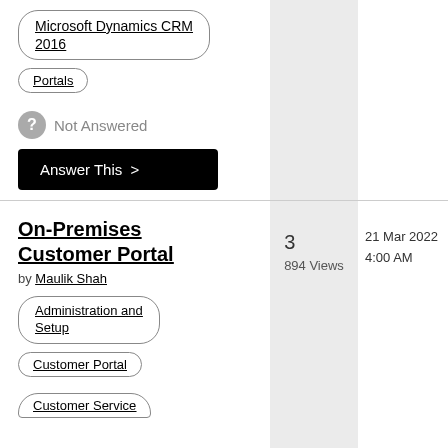Microsoft Dynamics CRM 2016
Portals
Not Answered
Answer This >
On-Premises Customer Portal
by Maulik Shah
3
894 Views
21 Mar 2022
4:00 AM
Administration and Setup
Customer Portal
Customer Service